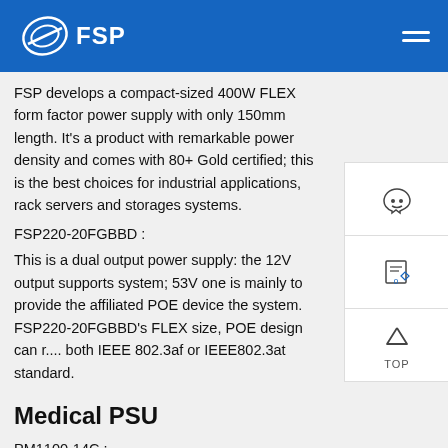FSP
FSP develops a compact-sized 400W FLEX form factor power supply with only 150mm length. It’s a product with remarkable power density and comes with 80+ Gold certified; this is the best choices for industrial applications, rack servers and storages systems.
FSP220-20FGBBD :
This is a dual output power supply: the 12V output supports system; 53V one is mainly to provide the affiliated POE device the system. FSP220-20FGBBD’s FLEX size, POE design can r... both IEEE 802.3af or IEEE802.3at standard.
Medical PSU
PM1100-14C :
The PM1100-14C is an 1100W PSU with +12V standby high watts power comes with five optional outputs (24V/28V/30V/36V/48V). Design meets BF class insulation and high altitude 5000 meters operation, suitable for medical & industrial general applications.